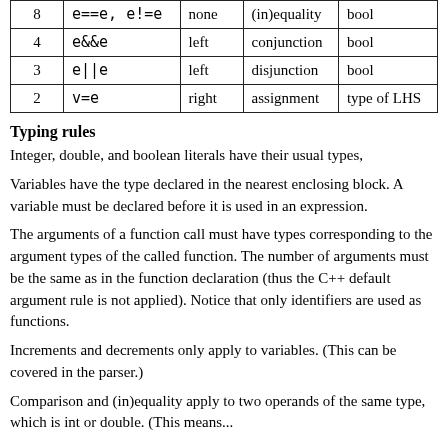|  |  |  |  |  |
| --- | --- | --- | --- | --- |
| 8 | e==e, e!=e | none | (in)equality | bool |
| 4 | e&&e | left | conjunction | bool |
| 3 | e||e | left | disjunction | bool |
| 2 | v=e | right | assignment | type of LHS |
Typing rules
Integer, double, and boolean literals have their usual types,
Variables have the type declared in the nearest enclosing block. A variable must be declared before it is used in an expression.
The arguments of a function call must have types corresponding to the argument types of the called function. The number of arguments must be the same as in the function declaration (thus the C++ default argument rule is not applied). Notice that only identifiers are used as functions.
Increments and decrements only apply to variables. (This can be covered in the parser.)
Comparison and (in)equality apply to two operands of the same type, which is int or double. (This means...